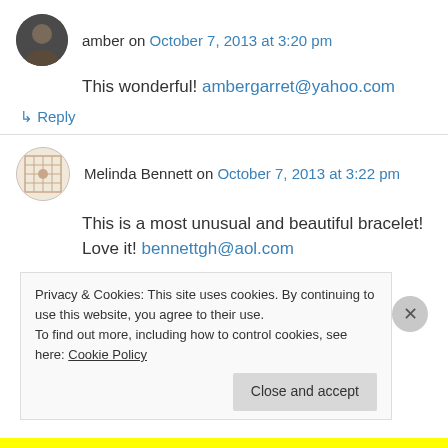amber on October 7, 2013 at 3:20 pm
This wonderful! ambergarret@yahoo.com
↳ Reply
Melinda Bennett on October 7, 2013 at 3:22 pm
This is a most unusual and beautiful bracelet! Love it! bennettgh@aol.com
Privacy & Cookies: This site uses cookies. By continuing to use this website, you agree to their use. To find out more, including how to control cookies, see here: Cookie Policy
Close and accept